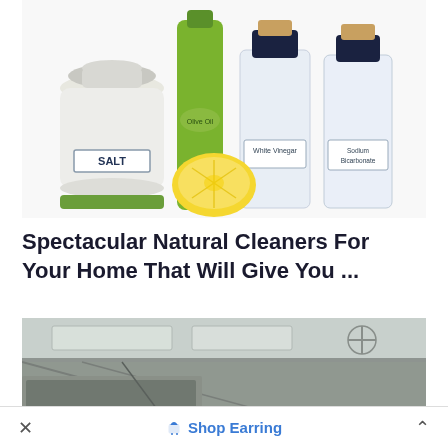[Figure (photo): Photo of natural cleaning ingredients on a white background: a white ceramic salt container labeled SALT, a green olive oil bottle, a halved lemon, and two clear glass bottles with cork stoppers labeled White Vinegar and Sodium Bicarbonate.]
Spectacular Natural Cleaners For Your Home That Will Give You ...
[Figure (photo): Photo of interior ceiling of what appears to be a train or bus, showing fluorescent lighting panels and overhead storage areas in grey tones.]
× Shop Earring ^